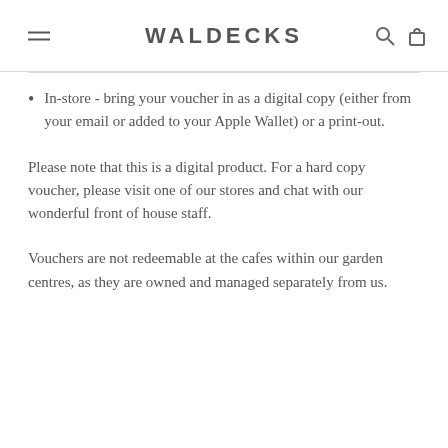WALDECKS
In-store - bring your voucher in as a digital copy (either from your email or added to your Apple Wallet) or a print-out.
Please note that this is a digital product. For a hard copy voucher, please visit one of our stores and chat with our wonderful front of house staff.
Vouchers are not redeemable at the cafes within our garden centres, as they are owned and managed separately from us.